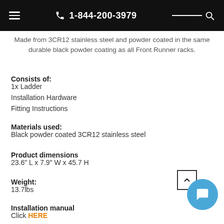1-844-200-3979
Made from 3CR12 stainless steel and powder coated in the same durable black powder coating as all Front Runner racks.
Consists of:
1x Ladder
Installation Hardware
Fitting Instructions
Materials used:
Black powder coated 3CR12 stainless steel
Product dimensions
23.6" L x 7.9" W x 45.7 H
Weight:
13.7lbs
Installation manual
Click HERE